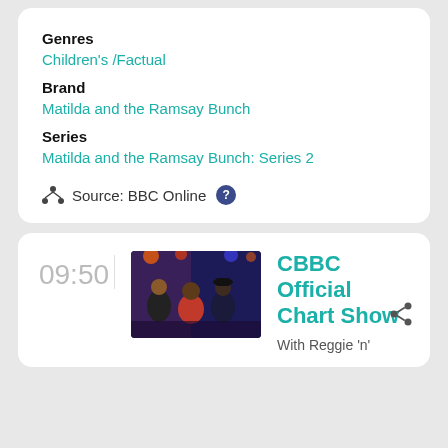Genres
Children's /Factual
Brand
Matilda and the Ramsay Bunch
Series
Matilda and the Ramsay Bunch: Series 2
Source: BBC Online
09:50
[Figure (photo): Photo of group of people on a TV show set with colorful background lighting]
CBBC Official Chart Show
With Reggie 'n'